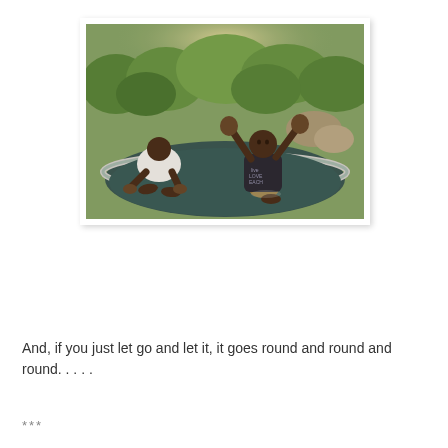[Figure (photo): Two children playing on a trampoline outdoors. One child in a white shirt is bent over on all fours, and another child in a dark shirt with text has arms raised up. Green trees and bushes are in the background.]
And, if you just let go and let it, it goes round and round and round. . . . .
***